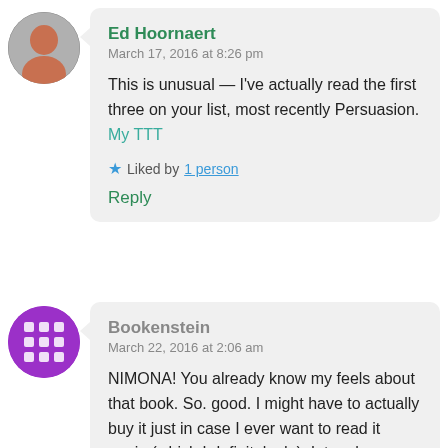[Figure (photo): Profile photo of Ed Hoornaert, a person's face in a circular avatar]
Ed Hoornaert
March 17, 2016 at 8:26 pm
This is unusual — I've actually read the first three on your list, most recently Persuasion. My TTT
Liked by 1 person
Reply
[Figure (illustration): Purple circular avatar with waffle/grid pattern for Bookenstein]
Bookenstein
March 22, 2016 at 2:06 am
NIMONA! You already know my feels about that book. So. good. I might have to actually buy it just in case I ever want to read it again (which I definitely do). I, too, have